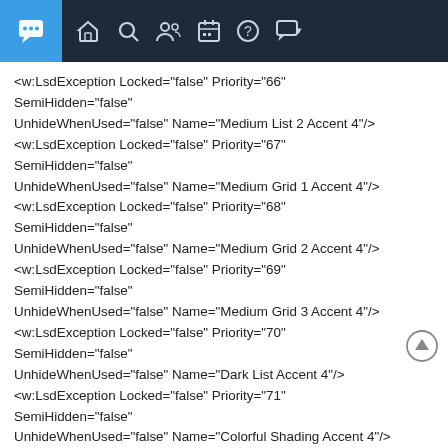[navigation bar with icons]
<w:LsdException Locked="false" Priority="66" SemiHidden="false" UnhideWhenUsed="false" Name="Medium List 2 Accent 4"/>
<w:LsdException Locked="false" Priority="67" SemiHidden="false" UnhideWhenUsed="false" Name="Medium Grid 1 Accent 4"/>
<w:LsdException Locked="false" Priority="68" SemiHidden="false" UnhideWhenUsed="false" Name="Medium Grid 2 Accent 4"/>
<w:LsdException Locked="false" Priority="69" SemiHidden="false" UnhideWhenUsed="false" Name="Medium Grid 3 Accent 4"/>
<w:LsdException Locked="false" Priority="70" SemiHidden="false" UnhideWhenUsed="false" Name="Dark List Accent 4"/>
<w:LsdException Locked="false" Priority="71" SemiHidden="false" UnhideWhenUsed="false" Name="Colorful Shading Accent 4"/>
<w:LsdException Locked="false" Priority="72" SemiHidden="false" UnhideWhenUsed="false" Name="Colorful List Accent 4"/>
<w:LsdException Locked="false" Priority="73"